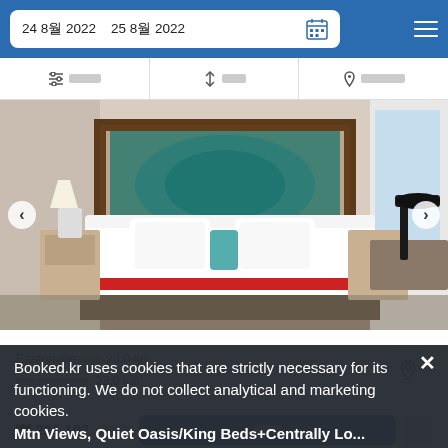24 8월 2022  25 8월 2022
필터  정렬  지역으로 검색
[Figure (photo): Hotel bedroom with king bed, white bedding with red accent, teal headboard artwork, wooden side tables with lamps, dark modern desk lamp on right]
Eastonville까지 23.0 km
현재 위치에서부터 23.0 km
₩ 221 192
Booked.kr uses cookies that are strictly necessary for its functioning. We do not collect analytical and marketing cookies.
Mtn Views, Quiet Oasis/King Beds+Centrally Lo...